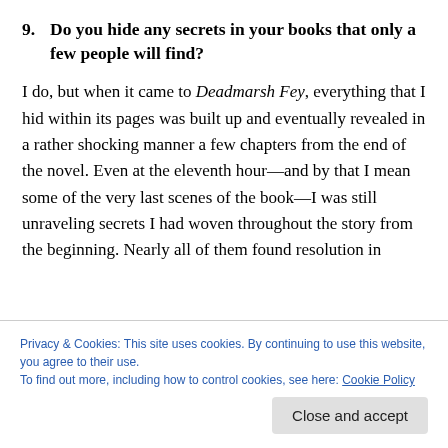9. Do you hide any secrets in your books that only a few people will find?
I do, but when it came to Deadmarsh Fey, everything that I hid within its pages was built up and eventually revealed in a rather shocking manner a few chapters from the end of the novel. Even at the eleventh hour—and by that I mean some of the very last scenes of the book—I was still unraveling secrets I had woven throughout the story from the beginning. Nearly all of them found resolution in
however, did have a suitable ending when its furtherance
Privacy & Cookies: This site uses cookies. By continuing to use this website, you agree to their use.
To find out more, including how to control cookies, see here: Cookie Policy